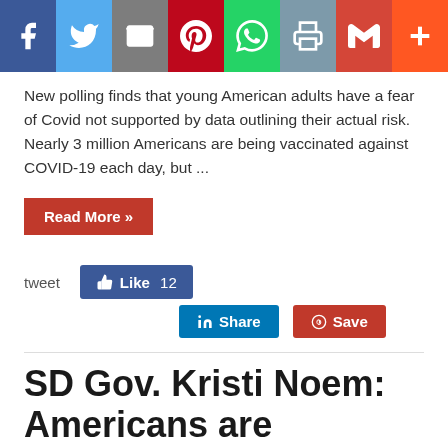[Figure (other): Social media share bar with icons for Facebook, Twitter, Email, Pinterest, WhatsApp, Print, Gmail, and More]
New polling finds that young American adults have a fear of Covid not supported by data outlining their actual risk. Nearly 3 million Americans are being vaccinated against COVID-19 each day, but ...
Read More »
tweet  Like 12  Share  Save
SD Gov. Kristi Noem: Americans are addicted to being offended, but God can heal our land